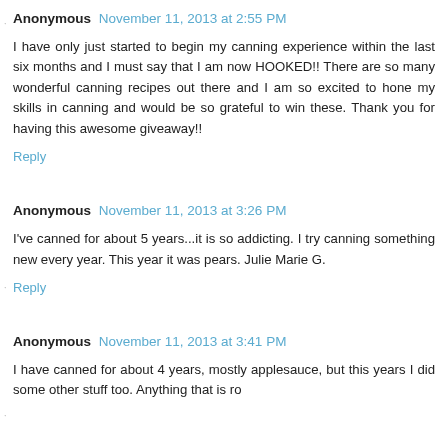Anonymous November 11, 2013 at 2:55 PM
I have only just started to begin my canning experience within the last six months and I must say that I am now HOOKED!! There are so many wonderful canning recipes out there and I am so excited to hone my skills in canning and would be so grateful to win these. Thank you for having this awesome giveaway!!
Reply
Anonymous November 11, 2013 at 3:26 PM
I've canned for about 5 years...it is so addicting. I try canning something new every year. This year it was pears. Julie Marie G.
Reply
Anonymous November 11, 2013 at 3:41 PM
I have canned for about 4 years, mostly applesauce, but this years I did some other stuff too. Anything that is ro